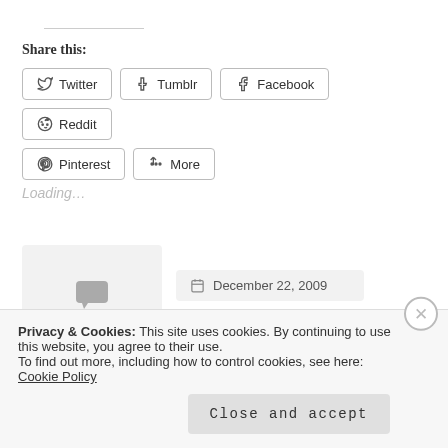Share this:
Twitter
Tumblr
Facebook
Reddit
Pinterest
More
Loading...
6 Comments
December 22, 2009
matttbastard
Privacy & Cookies: This site uses cookies. By continuing to use this website, you agree to their use. To find out more, including how to control cookies, see here: Cookie Policy
Close and accept